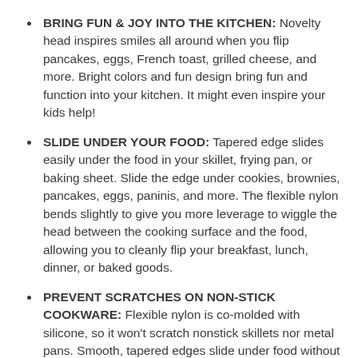BRING FUN & JOY INTO THE KITCHEN: Novelty head inspires smiles all around when you flip pancakes, eggs, French toast, grilled cheese, and more. Bright colors and fun design bring fun and function into your kitchen. It might even inspire your kids help!
SLIDE UNDER YOUR FOOD: Tapered edge slides easily under the food in your skillet, frying pan, or baking sheet. Slide the edge under cookies, brownies, pancakes, eggs, paninis, and more. The flexible nylon bends slightly to give you more leverage to wiggle the head between the cooking surface and the food, allowing you to cleanly flip your breakfast, lunch, dinner, or baked goods.
PREVENT SCRATCHES ON NON-STICK COOKWARE: Flexible nylon is co-molded with silicone, so it won't scratch nonstick skillets nor metal pans. Smooth, tapered edges slide under food without scratching, and the textured head provides a bit of grip for the food you're trying to take out of the pan.
GET A GRIP WITH STURDY HANDLE: Sturdy steel handle gives you something to hang onto while flipping, scrambling, or transporting. Brushed steel provides stability to the flexible head, and the nylon coating on